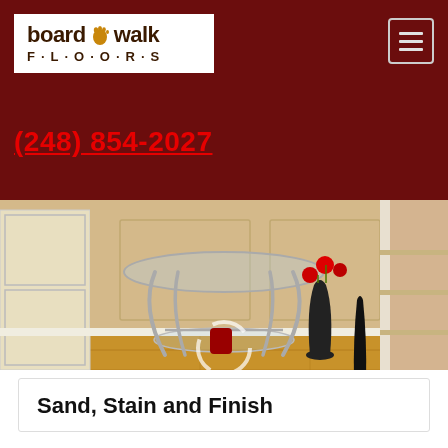[Figure (logo): Boardwalk Floors company logo: text 'board walk' with foot icon, and 'F·L·O·O·R·S' below, on white background inside dark red header]
(248) 854-2027
[Figure (photo): Interior room photo showing a glass-top console table with metal legs, black vases with red flowers, hardwood floor, white paneled walls, and a staircase on the right]
Sand, Stain and Finish